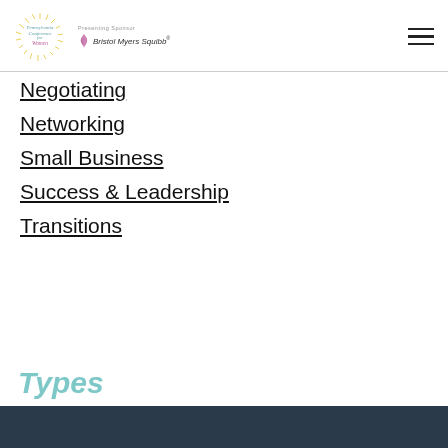Pennsylvania Conference for Women — Presenting Sponsor Bristol Myers Squibb
Negotiating
Networking
Small Business
Success & Leadership
Transitions
Types